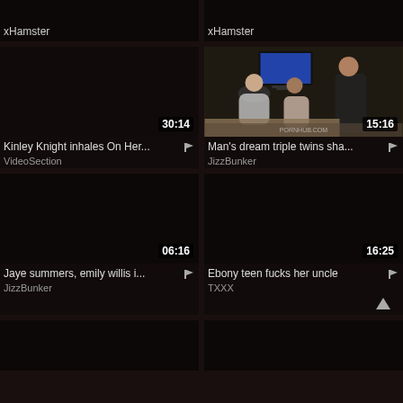[Figure (screenshot): Video thumbnail grid - top partial cards showing xHamster source labels]
xHamster
xHamster
[Figure (screenshot): Video thumbnail - Kinley Knight inhales On Her... - 30:14 duration - VideoSection]
Kinley Knight inhales On Her...
VideoSection
[Figure (photo): Video thumbnail showing people - Man's dream triple twins sha... - 15:16 duration - JizzBunker]
Man's dream triple twins sha...
JizzBunker
[Figure (screenshot): Video thumbnail - Jaye summers, emily willis i... - 06:16 duration - JizzBunker]
Jaye summers, emily willis i...
JizzBunker
[Figure (screenshot): Video thumbnail - Ebony teen fucks her uncle - 16:25 duration - TXXX]
Ebony teen fucks her uncle
TXXX
[Figure (screenshot): Partial bottom row of two more video thumbnails]